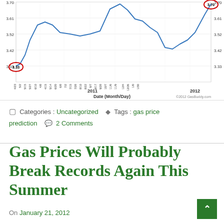[Figure (continuous-plot): Line chart showing gas prices over time from early 2011 to early 2012, with y-axis values ranging from 3.33 to 3.70. Two red circles highlight 3.33 (left, start) and 3.70 (right, end/peak). X-axis shows dates (Month/Day) for 2011 and 2012. Source: ©2012 GasBuddy.com]
Categories : Uncategorized   Tags : gas price prediction   2 Comments
Gas Prices Will Probably Break Records Again This Summer
On January 21, 2012
It appears to me that this summer we will see the highest gas prices of all time...again. Predicting exact price is always impossible, because of so many variables, but while oil and gas can be quite unpredictable, they also follow